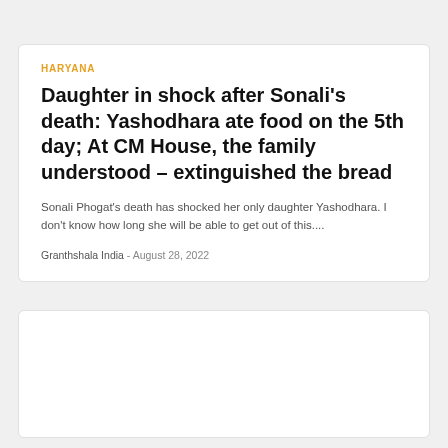HARYANA
Daughter in shock after Sonali’s death: Yashodhara ate food on the 5th day; At CM House, the family understood – extinguished the bread
Sonali Phogat’s death has shocked her only daughter Yashodhara. I don't know how long she will be able to get out of this....
Granthshala India  -  August 28, 2022